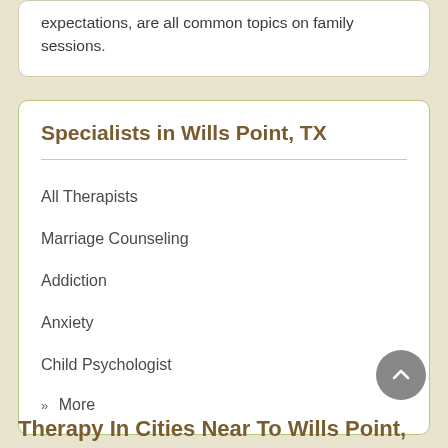expectations, are all common topics on family sessions.
Specialists in Wills Point, TX
All Therapists
Marriage Counseling
Addiction
Anxiety
Child Psychologist
» More
Therapy In Cities Near To Wills Point,